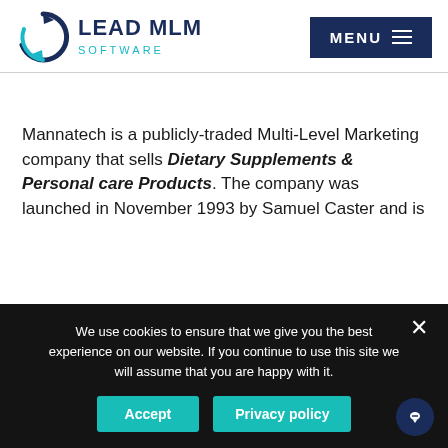[Figure (logo): Lead MLM Software logo with circular arrow icon and company name]
Mannatech is a publicly-traded Multi-Level Marketing company that sells Dietary Supplements & Personal care Products. The company was launched in November 1993 by Samuel Caster and is
We use cookies to ensure that we give you the best experience on our website. If you continue to use this site we will assume that you are happy with it.
Accept
Privacy policy